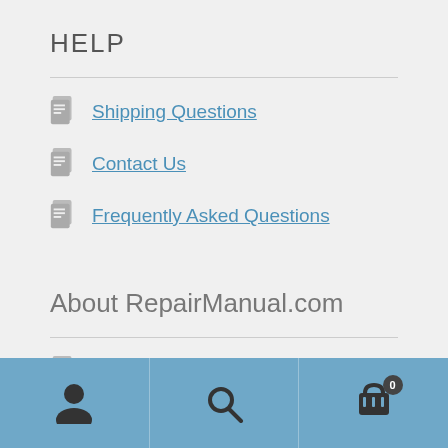HELP
Shipping Questions
Contact Us
Frequently Asked Questions
About RepairManual.com
Company Information
User account | Search | Cart (0)